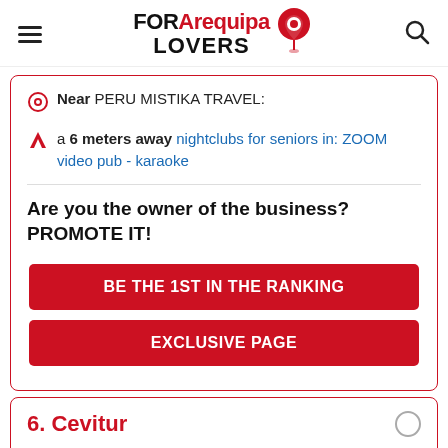FOR Arequipa LOVERS
Near PERU MISTIKA TRAVEL:
a 6 meters away nightclubs for seniors in: ZOOM video pub - karaoke
Are you the owner of the business? PROMOTE IT!
BE THE 1ST IN THE RANKING
EXCLUSIVE PAGE
6. Cevitur